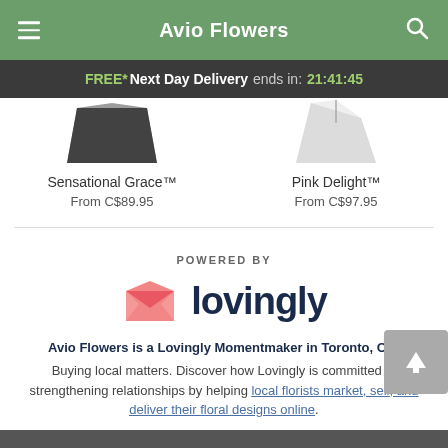Avio Flowers
FREE* Next Day Delivery ends in: 21:41:45
Sensational Grace™
From C$89.95
Pink Delight™
From C$97.95
[Figure (logo): Powered by Lovingly logo with pink envelope icon and dark blue wordmark]
Avio Flowers is a Lovingly Momentmaker in Toronto, ON.
Buying local matters. Discover how Lovingly is committed to strengthening relationships by helping local florists market, sell, and deliver their floral designs online.